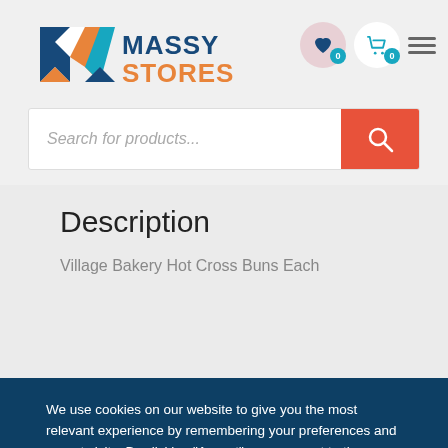[Figure (logo): Massy Stores logo with geometric M shape in blue, white, and orange, with 'MASSY' in dark blue and 'STORES' in orange]
Search for products...
Description
Village Bakery Hot Cross Buns Each
We use cookies on our website to give you the most relevant experience by remembering your preferences and repeat visits. By clicking “Accept”, you consent to the use of ALL the cookies. Please review our Privacy Policy.
Cookie settings
ACCEPT